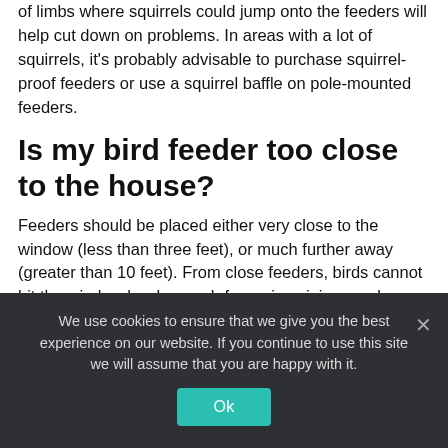of limbs where squirrels could jump onto the feeders will help cut down on problems. In areas with a lot of squirrels, it's probably advisable to purchase squirrel-proof feeders or use a squirrel baffle on pole-mounted feeders.
Is my bird feeder too close to the house?
Feeders should be placed either very close to the window (less than three feet), or much further away (greater than 10 feet). From close feeders, birds cannot hit the window hard enough for serious injury, and distant feeders provide enough room to safely maneuver.
We use cookies to ensure that we give you the best experience on our website. If you continue to use this site we will assume that you are happy with it.